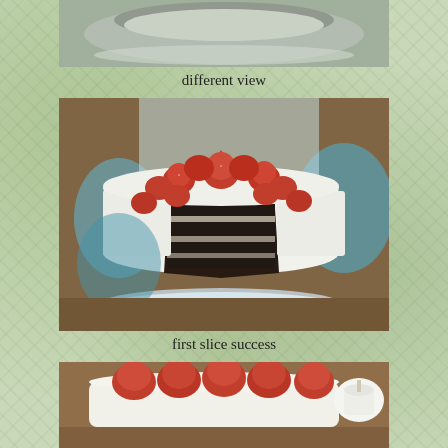[Figure (photo): Top portion of a cake on a plate, different view, partially visible at top of page]
different view
[Figure (photo): A chocolate layer cake with white whipped cream frosting and fresh strawberries on top, with a slice cut out revealing dark chocolate layers inside, on a glass cake stand with blue glass plates visible in background]
first slice success
[Figure (photo): A flat cake or dessert topped with white cream and halved strawberries, on a wooden table with a white teapot visible in background]